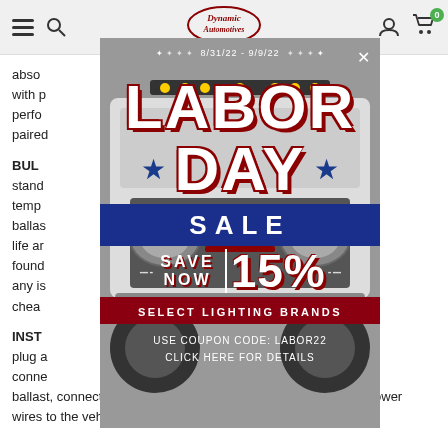Dynamic Automotives navigation bar with hamburger menu, search, logo, user account, and cart (0)
abso... built with p... perfo... to be paired...
BULB... nce stand... r temp... HID ballas... or life a... e found... ve any is... n in chea...
[Figure (infographic): Labor Day Sale popup modal overlay on top of a white Ford Bronco truck image. Modal shows: date 8/31/22 - 9/9/22 with star decorations, large text LABOR DAY in white with dark red shadow, SALE in white on navy blue bar, SAVE NOW | 15% with dashes, SELECT LIGHTING BRANDS in red bar, USE COUPON CODE: LABOR22, CLICK HERE FOR DETAILS]
INST... a plug a... conne... ballast, connect our HID bulb in its place, and secure the HID power wires to the vehicle.